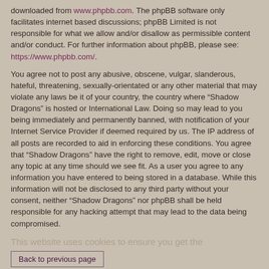downloaded from www.phpbb.com. The phpBB software only facilitates internet based discussions; phpBB Limited is not responsible for what we allow and/or disallow as permissible content and/or conduct. For further information about phpBB, please see: https://www.phpbb.com/.
You agree not to post any abusive, obscene, vulgar, slanderous, hateful, threatening, sexually-orientated or any other material that may violate any laws be it of your country, the country where “Shadow Dragons” is hosted or International Law. Doing so may lead to you being immediately and permanently banned, with notification of your Internet Service Provider if deemed required by us. The IP address of all posts are recorded to aid in enforcing these conditions. You agree that “Shadow Dragons” have the right to remove, edit, move or close any topic at any time should we see fit. As a user you agree to any information you have entered to being stored in a database. While this information will not be disclosed to any third party without your consent, neither “Shadow Dragons” nor phpBB shall be held responsible for any hacking attempt that may lead to the data being compromised.
This website uses cookies to ensure you get the best experience on our website. Learn more
Back to previous page
Home ‹ Board index   Contact us   Delete cookies   All times are UTC
Powered by phpBB® Forum Software © phpBB Limited
Pro Ubuntu Lucid Style   Ported 3.3 by phpBB Spain